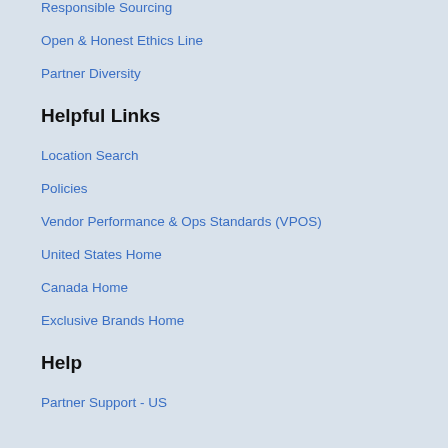Responsible Sourcing
Open & Honest Ethics Line
Partner Diversity
Helpful Links
Location Search
Policies
Vendor Performance & Ops Standards (VPOS)
United States Home
Canada Home
Exclusive Brands Home
Help
Partner Support - US
Partner Support - Canada
Partner Portal - FAQs